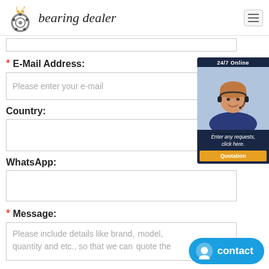bearing dealer
* E-Mail Address:
Please enter your e-mail
Country:
WhatsApp:
* Message:
Please include details like brand, model, quantity and etc., so that we can quote the